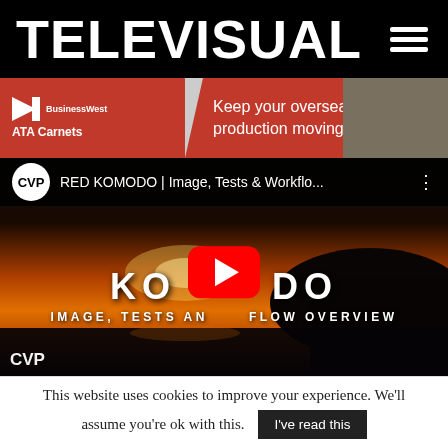TELEVISUAL
[Figure (photo): ATA Carnets advertisement banner: red background with BusinessWest ATA Carnets logo on left, text 'Keep your overseas production moving' in center, film crew photo on right]
[Figure (screenshot): YouTube video thumbnail for 'RED KOMODO | Image, Tests & Workflo...' by CVP. Shows sunset coastal landscape with play button overlay, text KOMODO and IMAGE, TESTS AND WORKFLOW OVERVIEW. CVP logo shown at bottom.]
This website uses cookies to improve your experience. We'll assume you're ok with this. I've read this